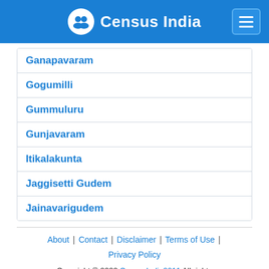Census India
Ganapavaram
Gogumilli
Gummuluru
Gunjavaram
Itikalakunta
Jaggisetti Gudem
Jainavarigudem
About | Contact | Disclaimer | Terms of Use | Privacy Policy
Copyright © 2022 CensusIndia2011 All rights